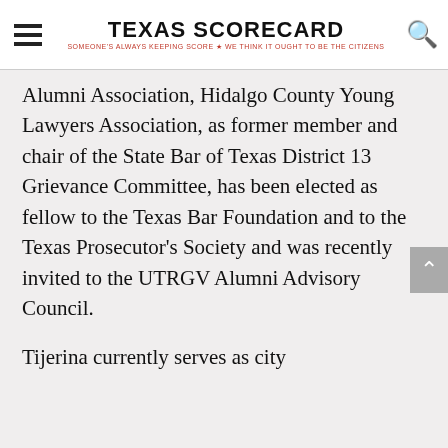TEXAS SCORECARD — SOMEONE'S ALWAYS KEEPING SCORE ★ WE THINK IT OUGHT TO BE THE CITIZENS
Alumni Association, Hidalgo County Young Lawyers Association, as former member and chair of the State Bar of Texas District 13 Grievance Committee, has been elected as fellow to the Texas Bar Foundation and to the Texas Prosecutor's Society and was recently invited to the UTRGV Alumni Advisory Council.
Tijerina currently serves as city